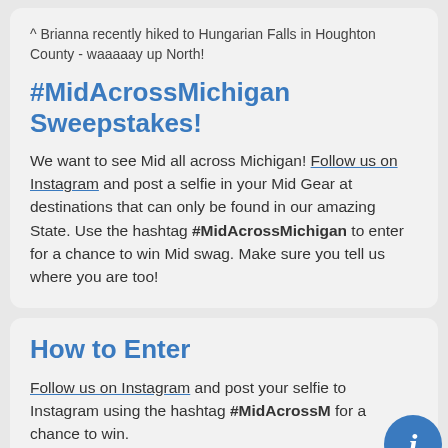^ Brianna recently hiked to Hungarian Falls in Houghton County - waaaaay up North!
#MidAcrossMichigan Sweepstakes!
We want to see Mid all across Michigan! Follow us on Instagram and post a selfie in your Mid Gear at destinations that can only be found in our amazing State. Use the hashtag #MidAcrossMichigan to enter for a chance to win Mid swag. Make sure you tell us where you are too!
How to Enter
Follow us on Instagram and post your selfie to Instagram using the hashtag #MidAcrossM for a chance to win.